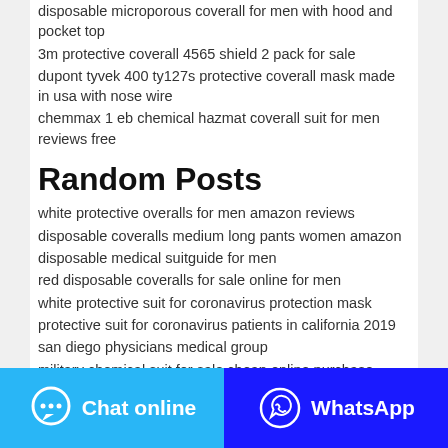disposable microporous coverall for men with hood and pocket top
3m protective coverall 4565 shield 2 pack for sale
dupont tyvek 400 ty127s protective coverall mask made in usa with nose wire
chemmax 1 eb chemical hazmat coverall suit for men reviews free
Random Posts
white protective overalls for men amazon reviews
disposable coveralls medium long pants women amazon
disposable medical suitguide for men
red disposable coveralls for sale online for men
white protective suit for coronavirus protection mask
protective suit for coronavirus patients in california 2019
san diego physicians medical group
military chemical suit for sale cheap online purchase
overall ppe suit for women near me walmart online
level a protective suit mod 1.12.2 pvp